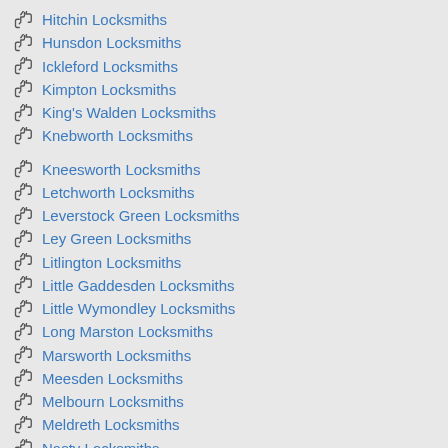Hitchin Locksmiths
Hunsdon Locksmiths
Ickleford Locksmiths
Kimpton Locksmiths
King's Walden Locksmiths
Knebworth Locksmiths
Kneesworth Locksmiths
Letchworth Locksmiths
Leverstock Green Locksmiths
Ley Green Locksmiths
Litlington Locksmiths
Little Gaddesden Locksmiths
Little Wymondley Locksmiths
Long Marston Locksmiths
Marsworth Locksmiths
Meesden Locksmiths
Melbourn Locksmiths
Meldreth Locksmiths
Nasty Locksmiths
Nettleden Locksmiths
Newnham Locksmiths